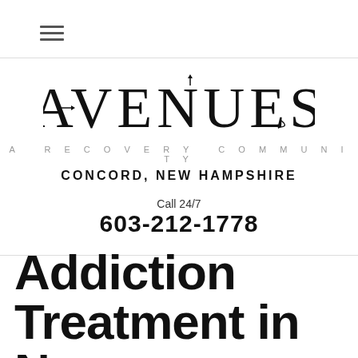[Figure (logo): Avenues A Recovery Community logo with decorative arrows incorporated into letters, Concord, New Hampshire]
Call 24/7
603-212-1778
Addiction Treatment in New Hampshire The